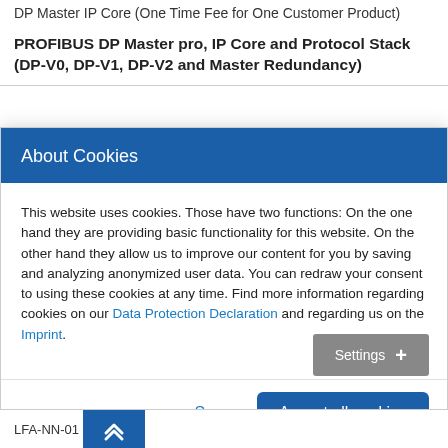DP Master IP Core (One Time Fee for One Customer Product)
PROFIBUS DP Master pro, IP Core and Protocol Stack (DP-V0, DP-V1, DP-V2 and Master Redundancy)
About Cookies
This website uses cookies. Those have two functions: On the one hand they are providing basic functionality for this website. On the other hand they allow us to improve our content for you by saving and analyzing anonymized user data. You can redraw your consent to using these cookies at any time. Find more information regarding cookies on our Data Protection Declaration and regarding us on the Imprint.
Settings +
Save
Accept all cookies
LFA-NN-01